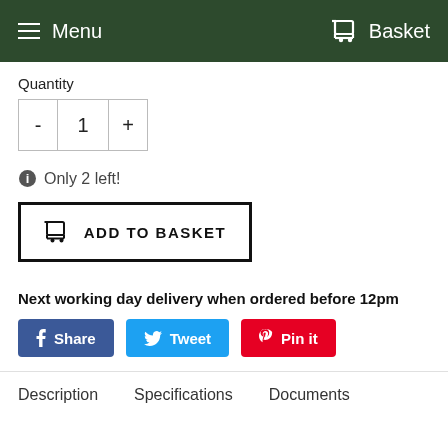Menu  Basket
Quantity
- 1 +
Only 2 left!
ADD TO BASKET
Next working day delivery when ordered before 12pm
Share  Tweet  Pin it
Description  Specifications  Documents